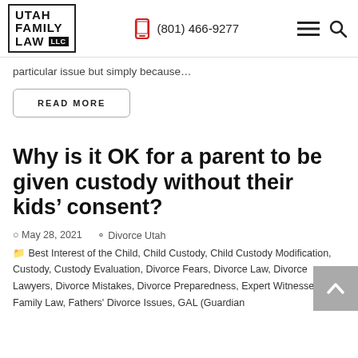UTAH FAMILY LAW LLC | (801) 466-9277
particular issue but simply because…
READ MORE
Why is it OK for a parent to be given custody without their kids' consent?
May 28, 2021   Divorce Utah
Best Interest of the Child, Child Custody, Child Custody Modification, Custody, Custody Evaluation, Divorce Fears, Divorce Law, Divorce Lawyers, Divorce Mistakes, Divorce Preparedness, Expert Witnesses, Family Law, Fathers' Divorce Issues, GAL (Guardian …